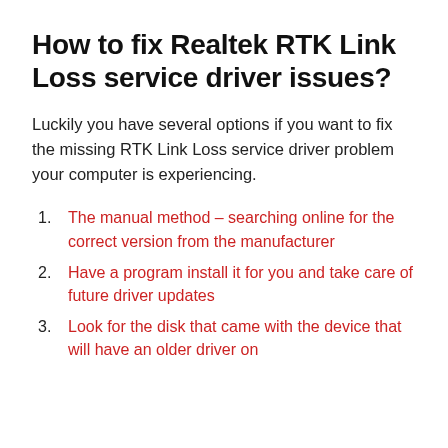How to fix Realtek RTK Link Loss service driver issues?
Luckily you have several options if you want to fix the missing RTK Link Loss service driver problem your computer is experiencing.
The manual method – searching online for the correct version from the manufacturer
Have a program install it for you and take care of future driver updates
Look for the disk that came with the device that will have an older driver on